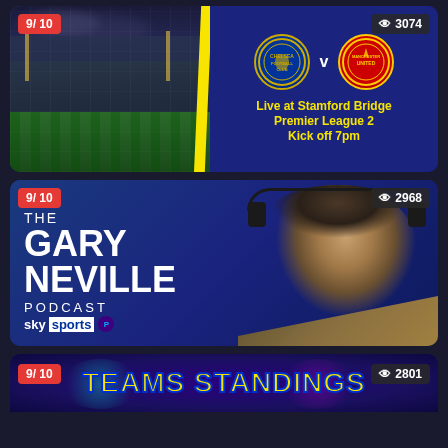[Figure (screenshot): Card 1: Chelsea vs Manchester United match card. Left side shows Stamford Bridge stadium photo at night. Right side on blue background shows Chelsea and Manchester United badges with 'v' between them. Text: 'Live at Stamford Bridge', 'Premier League 2', 'Kick off 7pm'. Rating badge '9/10' top-left, views badge '3074' top-right.]
[Figure (screenshot): Card 2: The Gary Neville Podcast. Blue background with Gary Neville wearing headphones on the right. Left side text: 'THE', 'GARY', 'NEVILLE', 'PODCAST', Sky Sports logo. Rating badge '9/10' top-left, views badge '2968' top-right.]
[Figure (screenshot): Card 3 partial: Blue/purple background with 'TEAMS STANDINGS' in large yellow text. Rating badge '9/10' top-left, views badge '2801' top-right. Card is partially cut off at bottom.]